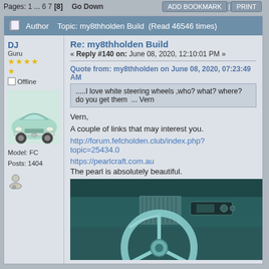Pages: 1 ... 6 7 [8]   Go Down
Author   Topic: my8thholden Build  (Read 46546 times)
Re: my8thholden Build
« Reply #140 on: June 08, 2020, 12:10:01 PM »
Quote from: my8thholden on June 08, 2020, 07:23:49 AM
.....I love white steering wheels ,who? what? where? do you get them  ... Vern
DJ
Guru
Offline
Model: FC
Posts: 1404
Vern,

A couple of links that may interest you.
http://forum.fefcholden.club/index.php?topic=25434.0
https://pearlcraft.com.au
The pearl is absolutely beautiful.
[Figure (photo): Photo of a classic car steering wheel and dashboard interior, teal/turquoise color scheme]